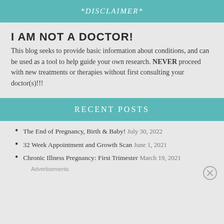*DISCLAIMER*
I AM NOT A DOCTOR!
This blog seeks to provide basic information about conditions, and can be used as a tool to help guide your own research. NEVER proceed with new treatments or therapies without first consulting your doctor(s)!!!
RECENT POSTS
The End of Pregnancy, Birth & Baby! July 30, 2022
32 Week Appointment and Growth Scan June 1, 2021
Chronic Illness Pregnancy: First Trimester March 19, 2021
Advertisements